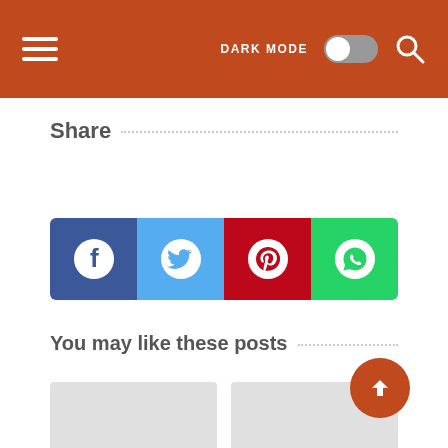DARK MODE [toggle] [search]
Share
[Figure (infographic): Social share buttons: Facebook, Twitter, Pinterest, WhatsApp]
You may like these posts
2g Plate Welding Test Smaw
What Are Welding Shielding Gases, And Why Are They Important? - Tulsa Welding School Uses Of Argon Welding